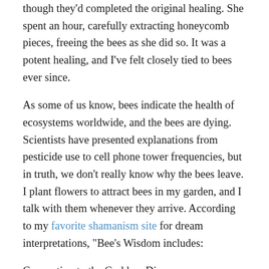though they'd completed the original healing. She spent an hour, carefully extracting honeycomb pieces, freeing the bees as she did so. It was a potent healing, and I've felt closely tied to bees ever since.
As some of us know, bees indicate the health of ecosystems worldwide, and the bees are dying. Scientists have presented explanations from pesticide use to cell phone tower frequencies, but in truth, we don't really know why the bees leave. I plant flowers to attract bees in my garden, and I talk with them whenever they arrive. According to my favorite shamanism site for dream interpretations, "Bee's Wisdom includes:
Connection to the Goddess Diana
Understanding female warrior energy